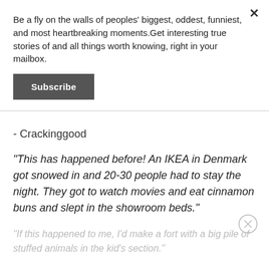Be a fly on the walls of peoples' biggest, oddest, funniest, and most heartbreaking moments.Get interesting true stories of and all things worth knowing, right in your mailbox.
Subscribe
- Crackinggood
"This has happened before! An IKEA in Denmark got snowed in and 20-30 people had to stay the night. They got to watch movies and eat cinnamon buns and slept in the showroom beds."
"If this happened to me, I'd make a fort with a big pile of stuffed animals in the kid's section."